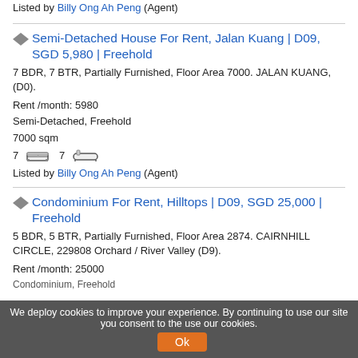Listed by Billy Ong Ah Peng (Agent)
Semi-Detached House For Rent, Jalan Kuang | D09, SGD 5,980 | Freehold
7 BDR, 7 BTR, Partially Furnished, Floor Area 7000. JALAN KUANG, (D0).
Rent /month: 5980
Semi-Detached, Freehold
7000 sqm
7 [bed] 7 [bath]
Listed by Billy Ong Ah Peng (Agent)
Condominium For Rent, Hilltops | D09, SGD 25,000 | Freehold
5 BDR, 5 BTR, Partially Furnished, Floor Area 2874. CAIRNHILL CIRCLE, 229808 Orchard / River Valley (D9).
Rent /month: 25000
Condominium, Freehold
We deploy cookies to improve your experience. By continuing to use our site you consent to the use our cookies.